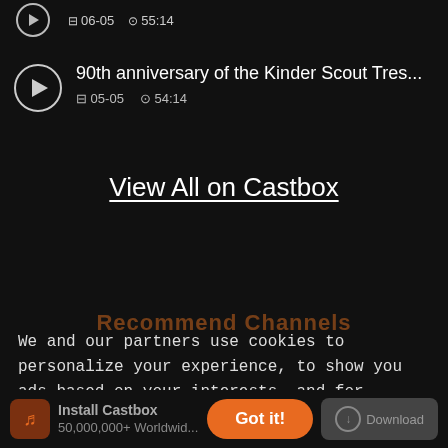06-05   55:14
90th anniversary of the Kinder Scout Tres...  05-05  54:14
View All on Castbox
Recommend Channels
We and our partners use cookies to personalize your experience, to show you ads based on your interests, and for measurement and analytics purposes. By using our website and our services,
Install Castbox
50,000,000+ Worldwide
Got it!
Download